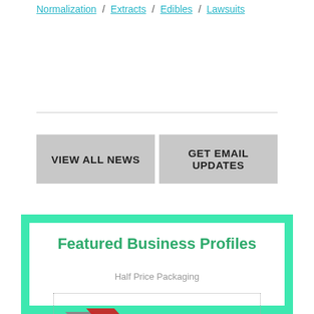Normalization / Extracts / Edibles / Lawsuits
VIEW ALL NEWS
GET EMAIL UPDATES
Featured Business Profiles
Half Price Packaging
[Figure (logo): Half Price Packaging logo with red and grey arrow shapes]